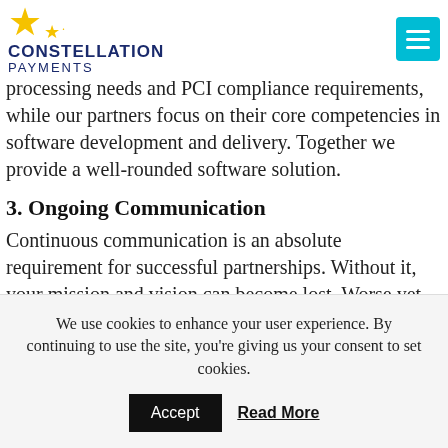Constellation Payments
processing needs and PCI compliance requirements, while our partners focus on their core competencies in software development and delivery. Together we provide a well-rounded software solution.
3. Ongoing Communication
Continuous communication is an absolute requirement for successful partnerships. Without it, your mission and vision can become lost. Worse yet, team members can end up in silos, rather than staying focused on the key objective.
We use cookies to enhance your user experience. By continuing to use the site, you're giving us your consent to set cookies. Accept Read More